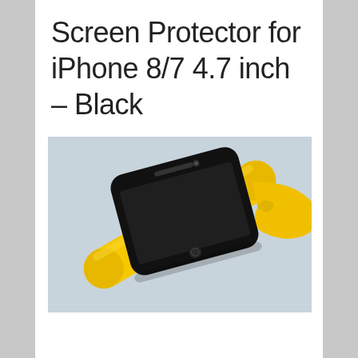Screen Protector for iPhone 8/7 4.7 inch – Black
[Figure (photo): A black tempered glass screen protector for iPhone lying diagonally on a yellow microfiber cleaning cloth, against a light blue-gray background.]